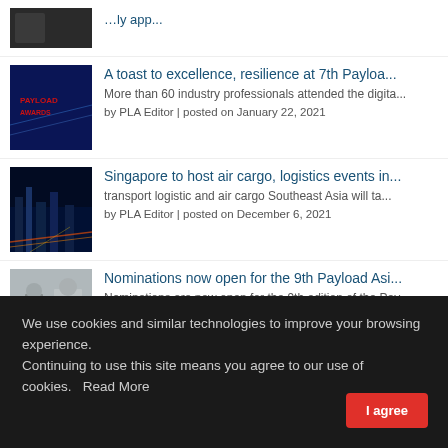[Figure (photo): Partially visible article thumbnail image at top of page]
[Figure (photo): Payload Awards event photo with blue lighting]
A toast to excellence, resilience at 7th Payloa...
More than 60 industry professionals attended the digita...
by PLA Editor | posted on January 22, 2021
[Figure (photo): Singapore city skyline at night with colorful light trails]
Singapore to host air cargo, logistics events in...
transport logistic and air cargo Southeast Asia will ta...
by PLA Editor | posted on December 6, 2021
[Figure (photo): Two men shaking hands at an awards ceremony]
Nominations now open for the 9th Payload Asi...
Nominations are now open for the 9th edition of the Pay...
by PLA Editor | posted on May 9, 2022
We use cookies and similar technologies to improve your browsing experience.
Continuing to use this site means you agree to our use of cookies.   Read More